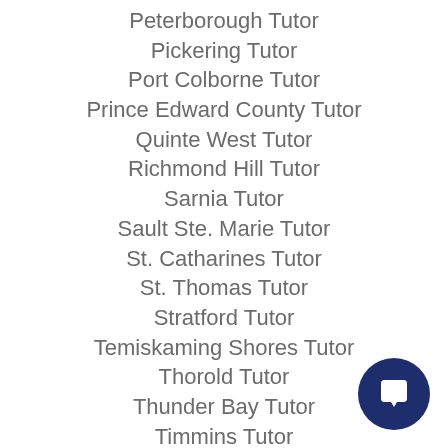Peterborough Tutor
Pickering Tutor
Port Colborne Tutor
Prince Edward County Tutor
Quinte West Tutor
Richmond Hill Tutor
Sarnia Tutor
Sault Ste. Marie Tutor
St. Catharines Tutor
St. Thomas Tutor
Stratford Tutor
Temiskaming Shores Tutor
Thorold Tutor
Thunder Bay Tutor
Timmins Tutor
Toronto Tutor
Vaughan Tutor
Waterloo Tutor
Welland Tutor